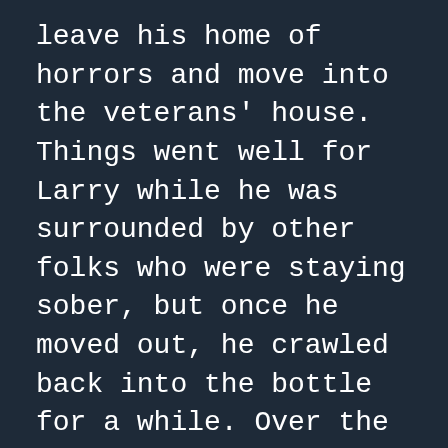leave his home of horrors and move into the veterans' house. Things went well for Larry while he was surrounded by other folks who were staying sober, but once he moved out, he crawled back into the bottle for a while. Over the next few years, Larry had ups and downs but managed to give back to the community—organizing a blues festival to raise money for the house, helping former residents, volunteering at the house.
Two Novembers ago, Larry combined Fentanyl and whiskey, making a cocktail of madness that led to a SWAT team, a brief